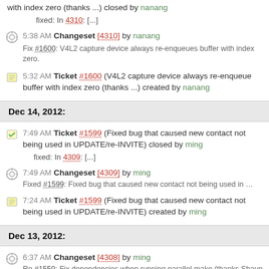with index zero (thanks ...) closed by nanang
fixed: In 4310: [...]
5:38 AM Changeset [4310] by nanang — Fix #1600: V4L2 capture device always re-enqueues buffer with index zero.
5:32 AM Ticket #1600 (V4L2 capture device always re-enqueue buffer with index zero (thanks ...) created by nanang
Dec 14, 2012:
7:49 AM Ticket #1599 (Fixed bug that caused new contact not being used in UPDATE/re-INVITE) closed by ming
fixed: In 4309: [...]
7:49 AM Changeset [4309] by ming — Fixed #1599: Fixed bug that caused new contact not being used in ...
7:24 AM Ticket #1599 (Fixed bug that caused new contact not being used in UPDATE/re-INVITE) created by ming
Dec 13, 2012:
6:37 AM Changeset [4308] by ming — Re #1559: Fix dependencies when running parallel make (thanks Shaun ...
3:46 AM Changeset [4307] by ming